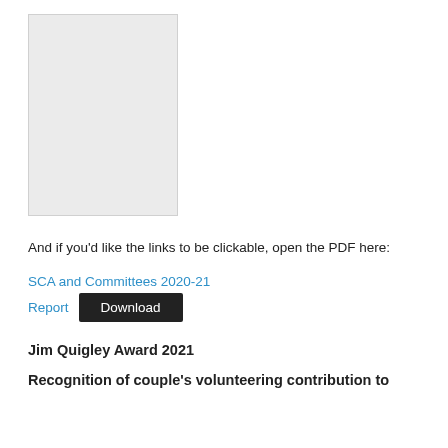[Figure (other): Thumbnail preview of a document page, shown as a light grey rectangle]
And if you'd like the links to be clickable, open the PDF here:
SCA and Committees 2020-21 Report  Download
Jim Quigley Award 2021
Recognition of couple's volunteering contribution to